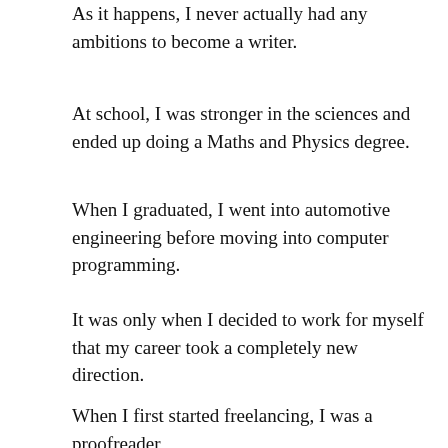As it happens, I never actually had any ambitions to become a writer.
At school, I was stronger in the sciences and ended up doing a Maths and Physics degree.
When I graduated, I went into automotive engineering before moving into computer programming.
It was only when I decided to work for myself that my career took a completely new direction.
When I first started freelancing, I was a proofreader and editor for several academic publishers.
Then, when I got that all-important writing break back in 2008, I grabbed it with both hands. Instead of checking other people's content, I much preferred